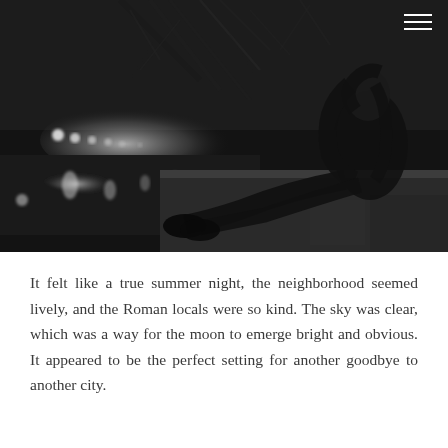[Figure (photo): Black and white nighttime photograph of a young woman with long hair sitting on a stone bridge railing or wall. City lights and a river are visible in the background, with bare tree branches overhead. The scene has a moody, atmospheric quality.]
It felt like a true summer night, the neighborhood seemed lively, and the Roman locals were so kind. The sky was clear, which was a way for the moon to emerge bright and obvious. It appeared to be the perfect setting for another goodbye to another city.